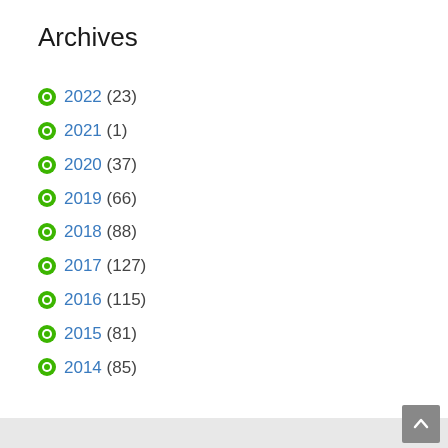Archives
2022 (23)
2021 (1)
2020 (37)
2019 (66)
2018 (88)
2017 (127)
2016 (115)
2015 (81)
2014 (85)